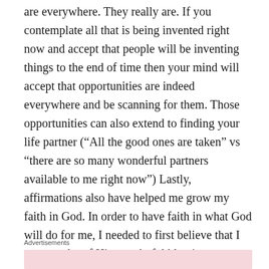are everywhere. They really are. If you contemplate all that is being invented right now and accept that people will be inventing things to the end of time then your mind will accept that opportunities are indeed everywhere and be scanning for them. Those opportunities can also extend to finding your life partner (“All the good ones are taken” vs “there are so many wonderful partners available to me right now”) Lastly, affirmations also have helped me grow my faith in God. In order to have faith in what God will do for me, I needed to first believe that I was worthy of His wonderful blessings. Affirmations have really helped me accept my worth.
Advertisements